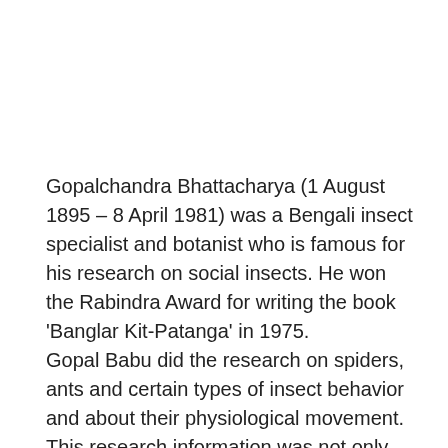Gopalchandra Bhattacharya (1 August 1895 – 8 April 1981) was a Bengali insect specialist and botanist who is famous for his research on social insects. He won the Rabindra Award for writing the book 'Banglar Kit-Patanga' in 1975. Gopal Babu did the research on spiders, ants and certain types of insect behavior and about their physiological movement. This research information was not only appreciated by Indian scientists but also by foreign scientists. He used to write his essay in a very easy-to-understand language. For this reason, his writings were greatly appreciated by the readers of all major categories. He wrote about various